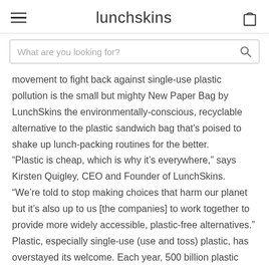lunchskins
What are you looking for?
movement to fight back against single-use plastic pollution is the small but mighty New Paper Bag by LunchSkins the environmentally-conscious, recyclable alternative to the plastic sandwich bag that's poised to shake up lunch-packing routines for the better. “Plastic is cheap, which is why it’s everywhere,” says Kirsten Quigley, CEO and Founder of LunchSkins. “We’re told to stop making choices that harm our planet but it’s also up to us [the companies] to work together to provide more widely accessible, plastic-free alternatives.” Plastic, especially single-use (use and toss) plastic, has overstayed its welcome. Each year, 500 billion plastic bags are used once and thrown away – but they never